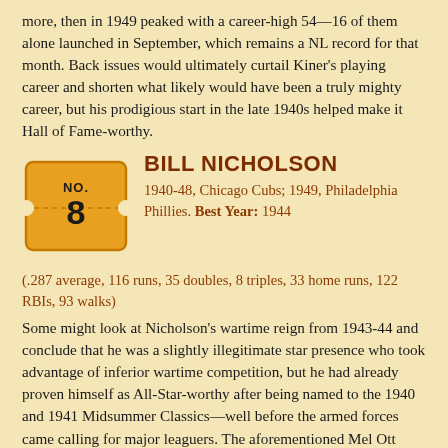more, then in 1949 peaked with a career-high 54—16 of them alone launched in September, which remains a NL record for that month. Back issues would ultimately curtail Kiner's playing career and shorten what likely would have been a truly mighty career, but his prodigious start in the late 1940s helped make it Hall of Fame-worthy.
[Figure (illustration): Golden ticket graphic with 'NO. 8' text in black on an orange/gold ticket shape]
BILL NICHOLSON
1940-48, Chicago Cubs; 1949, Philadelphia Phillies. Best Year: 1944 (.287 average, 116 runs, 35 doubles, 8 triples, 33 home runs, 122 RBIs, 93 walks)
Some might look at Nicholson's wartime reign from 1943-44 and conclude that he was a slightly illegitimate star presence who took advantage of inferior wartime competition, but he had already proven himself as All-Star-worthy after being named to the 1940 and 1941 Midsummer Classics—well before the armed forces came calling for major leaguers. The aforementioned Mel Ott